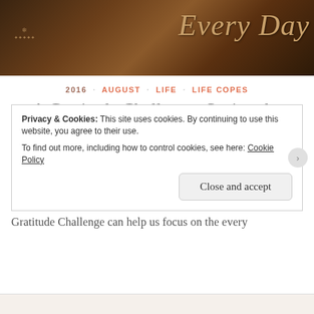[Figure (photo): Blog header image with dark brown sepia-toned background and cursive text 'Every Day' in golden color, with a small logo watermark on the left]
2016 · AUGUST · LIFE · LIFE COPES
A Gratitude Challenge: Seeing the Little Things in Life
August 22, 2016 · Just Bits and Pieces · 7 Comments
Sometimes it's difficult to notice the small things in our lives that are blessings we should be grateful for. The 30 Day Gratitude Challenge can help us focus on the every
Privacy & Cookies: This site uses cookies. By continuing to use this website, you agree to their use.
To find out more, including how to control cookies, see here: Cookie Policy
Close and accept